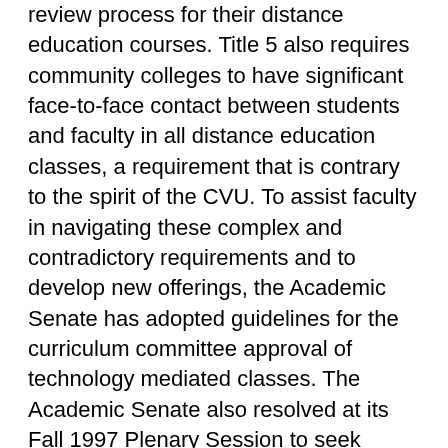review process for their distance education courses. Title 5 also requires community colleges to have significant face-to-face contact between students and faculty in all distance education classes, a requirement that is contrary to the spirit of the CVU. To assist faculty in navigating these complex and contradictory requirements and to develop new offerings, the Academic Senate has adopted guidelines for the curriculum committee approval of technology mediated classes. The Academic Senate also resolved at its Fall 1997 Plenary Session to seek repeal of the face-to-face requirement. The Academic Senate will also press the CVU design team to confront and resolve the many issues surrounding accreditation so that community colleges will not be disadvantaged in the provision of distance education offerings.
Articulation
For community college students to benefit from a virtual education, they must be able to plan a course of study with